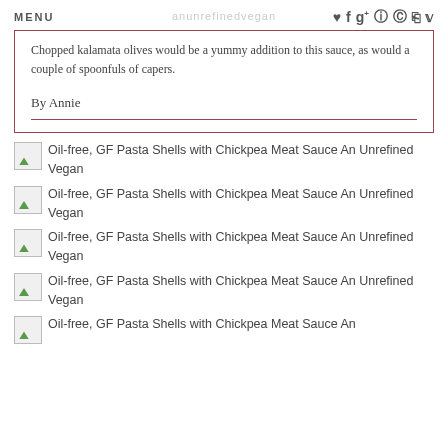MENU
Chopped kalamata olives would be a yummy addition to this sauce, as would a couple of spoonfuls of capers.
By Annie
Oil-free, GF Pasta Shells with Chickpea Meat Sauce An Unrefined Vegan
Oil-free, GF Pasta Shells with Chickpea Meat Sauce An Unrefined Vegan
Oil-free, GF Pasta Shells with Chickpea Meat Sauce An Unrefined Vegan
Oil-free, GF Pasta Shells with Chickpea Meat Sauce An Unrefined Vegan
Oil-free, GF Pasta Shells with Chickpea Meat Sauce An Unrefined Vegan